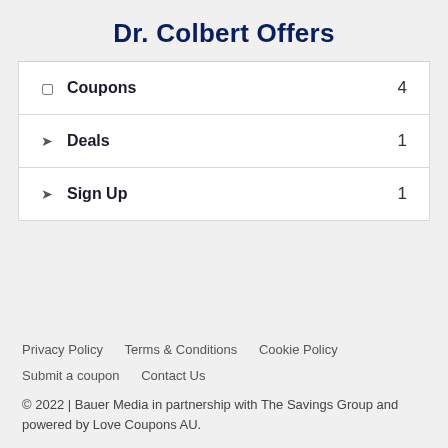Dr. Colbert Offers
| Category | Count |
| --- | --- |
| Coupons | 4 |
| Deals | 1 |
| Sign Up | 1 |
Privacy Policy    Terms & Conditions    Cookie Policy    Submit a coupon    Contact Us
© 2022 | Bauer Media in partnership with The Savings Group and powered by Love Coupons AU.